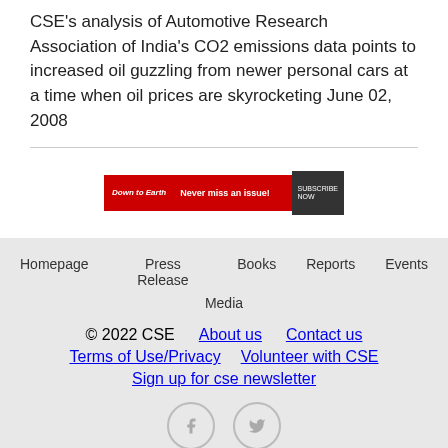CSE's analysis of Automotive Research Association of India's CO2 emissions data points to increased oil guzzling from newer personal cars at a time when oil prices are skyrocketing June 02, 2008
[Figure (other): Advertisement banner: Down to Earth - Never miss an issue! with subscribe button]
Homepage  Press Release  Books  Reports  Events  Media
© 2022 CSE  About us  Contact us
Terms of Use/Privacy  Volunteer with CSE
Sign up for cse newsletter